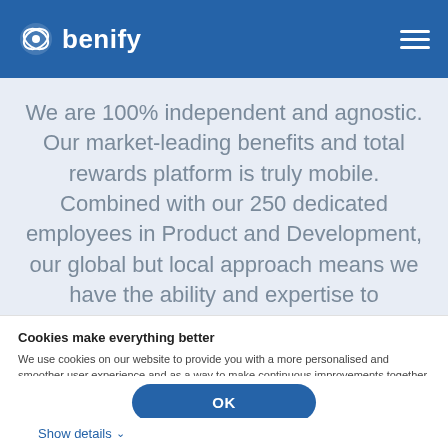benify
We are 100% independent and agnostic. Our market-leading benefits and total rewards platform is truly mobile. Combined with our 250 dedicated employees in Product and Development, our global but local approach means we have the ability and expertise to
Cookies make everything better
We use cookies on our website to provide you with a more personalised and smoother user experience and as a way to make continuous improvements together with our partners.
Necessary
Preferences
Statistics
Marketing
OK
Show details